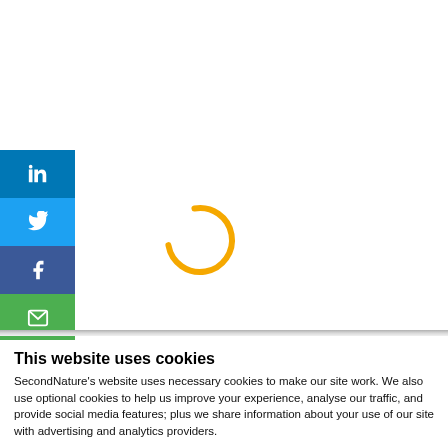[Figure (infographic): Loading spinner: a golden/yellow circular arc (approximately 270 degrees) indicating a loading state, centered in the main content area of the page.]
[Figure (infographic): Social media sharing sidebar with four buttons stacked vertically: LinkedIn (blue), Twitter (light blue), Facebook (dark blue), Email (green), each with a white icon.]
This website uses cookies
SecondNature's website uses necessary cookies to make our site work. We also use optional cookies to help us improve your experience, analyse our traffic, and provide social media features; plus we share information about your use of our site with advertising and analytics providers.